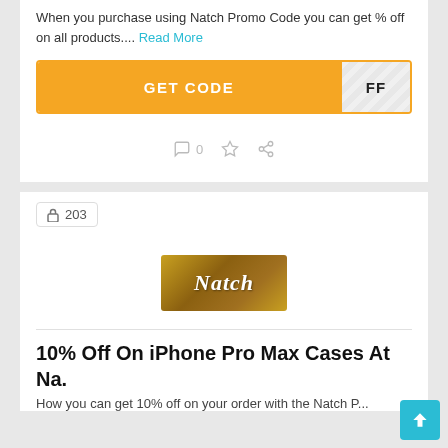When you purchase using Natch Promo Code you can get % off on all products.... Read More
GET CODE  FF
0
203
[Figure (logo): Natch brand logo with cursive white text on a brown/golden background]
10% Off On iPhone Pro Max Cases At Na.
How you can get 10% off on your order with the Natch Promo...